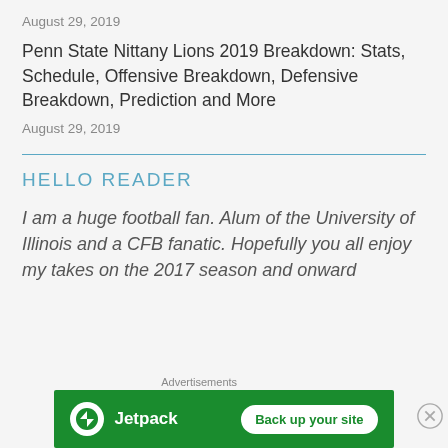August 29, 2019
Penn State Nittany Lions 2019 Breakdown: Stats, Schedule, Offensive Breakdown, Defensive Breakdown, Prediction and More
August 29, 2019
HELLO READER
I am a huge football fan. Alum of the University of Illinois and a CFB fanatic. Hopefully you all enjoy my takes on the 2017 season and onward
Advertisements
[Figure (other): Jetpack advertisement banner with logo and 'Back up your site' button on green background]